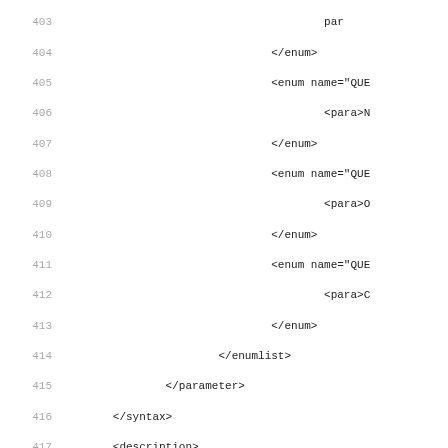Code listing lines 404–435 showing XML structure with enum, enumlist, parameter, syntax, description, function, synopsis elements